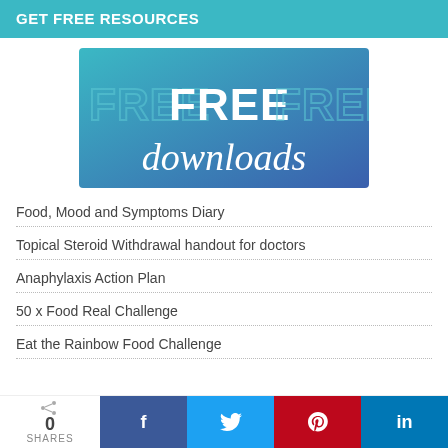GET FREE RESOURCES
[Figure (illustration): Banner graphic with gradient blue background showing 'FREE FREE FREE downloads' text in large decorative letters]
Food, Mood and Symptoms Diary
Topical Steroid Withdrawal handout for doctors
Anaphylaxis Action Plan
50 x Food Real Challenge
Eat the Rainbow Food Challenge
0 SHARES — social share buttons: Facebook, Twitter, Pinterest, LinkedIn